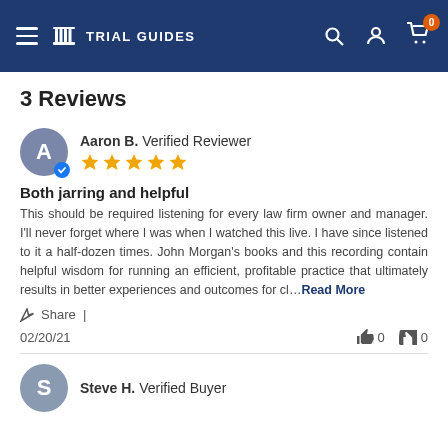Trial Guides — Navigation bar with hamburger menu, logo, search, account, and cart (0 items)
3 Reviews
Aaron B. Verified Reviewer
Both jarring and helpful
This should be required listening for every law firm owner and manager. I'll never forget where I was when I watched this live. I have since listened to it a half-dozen times. John Morgan's books and this recording contain helpful wisdom for running an efficient, profitable practice that ultimately results in better experiences and outcomes for cl…Read More
Share
02/20/21
0   0
Steve H. Verified Buyer